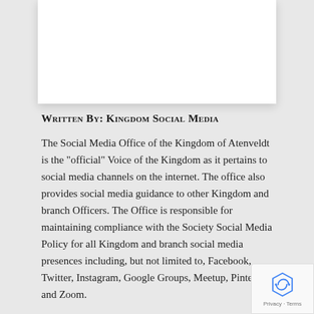[Figure (other): White card/box at top of page]
Written By: Kingdom Social Media
The Social Media Office of the Kingdom of Atenveldt is the "official" Voice of the Kingdom as it pertains to social media channels on the internet. The office also provides social media guidance to other Kingdom and branch Officers. The Office is responsible for maintaining compliance with the Society Social Media Policy for all Kingdom and branch social media presences including, but not limited to, Facebook, Twitter, Instagram, Google Groups, Meetup, Pinterest, and Zoom.